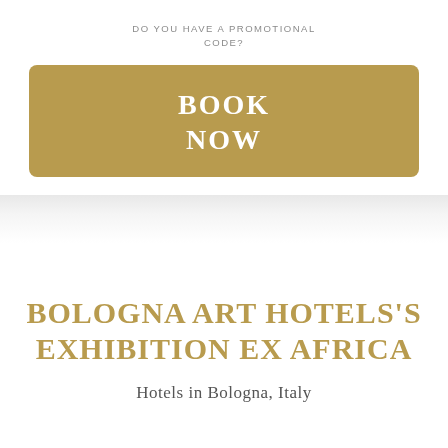DO YOU HAVE A PROMOTIONAL CODE?
BOOK NOW
BOLOGNA ART HOTELS'S EXHIBITION EX AFRICA
Hotels in Bologna, Italy